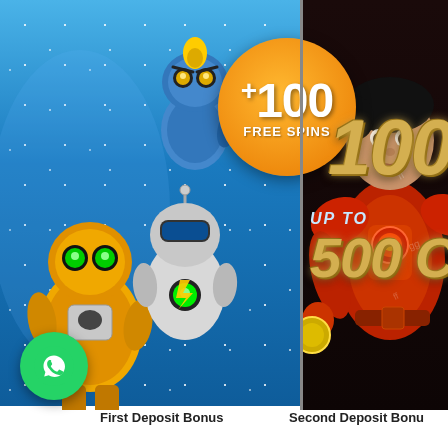[Figure (illustration): Casino bonus advertisement banner. Left panel: light blue background with cartoon robot characters (blue, yellow, white robots). Orange circle badge showing '+100 FREE SPINS'. Large golden italic text '100%' and 'UP TO 500 C$'. Right panel: dark background with a red-armored warrior character (partially cropped). WhatsApp green circle icon at bottom left.]
First Deposit Bonus
Second Deposit Bonus